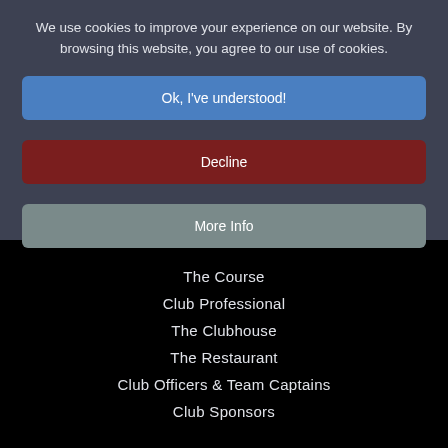We use cookies to improve your experience on our website. By browsing this website, you agree to our use of cookies.
Ok, I've understood!
Decline
More Info
The Course
Club Professional
The Clubhouse
The Restaurant
Club Officers & Team Captains
Club Sponsors